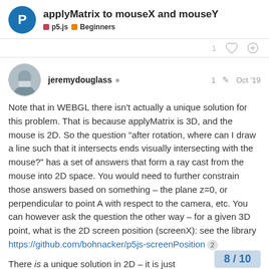applyMatrix to mouseX and mouseY — p5.js | Beginners
applyMatrix to mouseX and mouseY
jeremydouglass   1  Oct '19
Note that in WEBGL there isn't actually a unique solution for this problem. That is because applyMatrix is 3D, and the mouse is 2D. So the question "after rotation, where can I draw a line such that it intersects ends visually intersecting with the mouse?" has a set of answers that form a ray cast from the mouse into 2D space. You would need to further constrain those answers based on something – the plane z=0, or perpendicular to point A with respect to the camera, etc. You can however ask the question the other way – for a given 3D point, what is the 2D screen position (screenX): see the library https://github.com/bohnacker/p5js-screenPosition 2
There is a unique solution in 2D – it is just case for matrices.
8 / 10